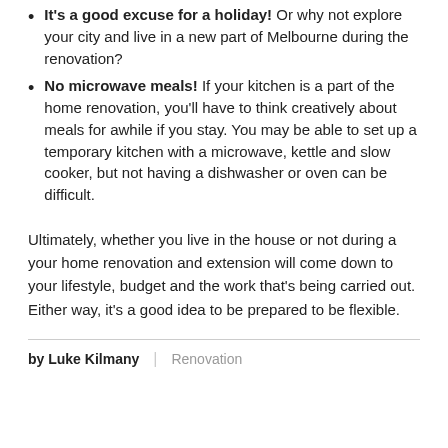It's a good excuse for a holiday! Or why not explore your city and live in a new part of Melbourne during the renovation?
No microwave meals! If your kitchen is a part of the home renovation, you'll have to think creatively about meals for awhile if you stay. You may be able to set up a temporary kitchen with a microwave, kettle and slow cooker, but not having a dishwasher or oven can be difficult.
Ultimately, whether you live in the house or not during a your home renovation and extension will come down to your lifestyle, budget and the work that's being carried out. Either way, it's a good idea to be prepared to be flexible.
by Luke Kilmany | Renovation